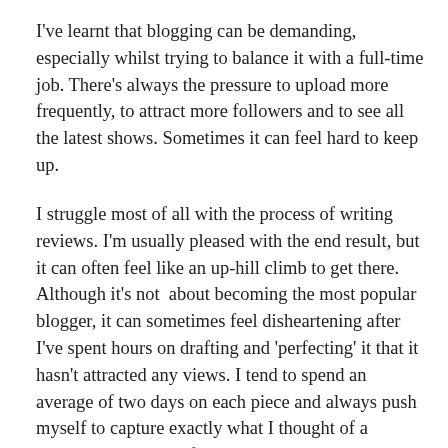I've learnt that blogging can be demanding, especially whilst trying to balance it with a full-time job. There's always the pressure to upload more frequently, to attract more followers and to see all the latest shows. Sometimes it can feel hard to keep up.
I struggle most of all with the process of writing reviews. I'm usually pleased with the end result, but it can often feel like an up-hill climb to get there. Although it's not  about becoming the most popular blogger, it can sometimes feel disheartening after I've spent hours on drafting and 'perfecting' it that it hasn't attracted any views. I tend to spend an average of two days on each piece and always push myself to capture exactly what I thought of a particular show. My frustration usually is that I haven't captured my thoughts in the most engaging way and I can sometimes overcomplicate how to word a particular sentence. There are some impressively prolific reviewers who able to